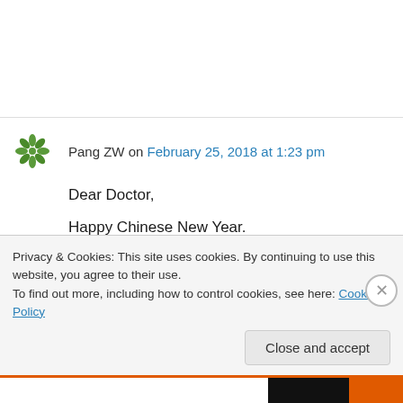Pang ZW on February 25, 2018 at 1:23 pm
Dear Doctor,
Happy Chinese New Year.
My mom has issue with her left thigh, where part of it with numbness, originally was a size of palm, but now had growth bigger. This had happen for years and the area grows slowly.
My question is, is this under treatment or
Privacy & Cookies: This site uses cookies. By continuing to use this website, you agree to their use.
To find out more, including how to control cookies, see here: Cookie Policy